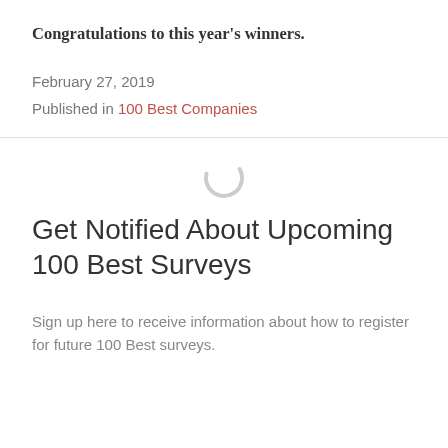Congratulations to this year's winners.
February 27, 2019
Published in 100 Best Companies
[Figure (other): Loading spinner icon — a partial circle arc indicating a loading/spinning state]
Get Notified About Upcoming 100 Best Surveys
Sign up here to receive information about how to register for future 100 Best surveys.